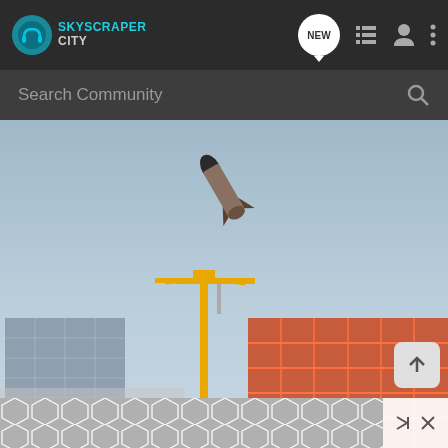SkyscraperCity — navigation bar with logo, NEW button, list icon, user icon, more icon
Search Community
[Figure (photo): Photo showing a rocket or missile in flight diagonally against a clear blue-grey sky, with construction cranes and a building under construction (orange scaffolding) visible below, plus a glass building on the left. An advertisement overlay with a hexagon pattern appears at the bottom.]